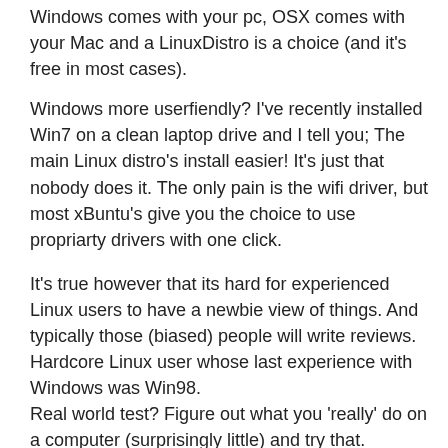different. I shud.
Windows comes with your pc, OSX comes with your Mac and a LinuxDistro is a choice (and it's free in most cases).
Windows more userfiendly? I've recently installed Win7 on a clean laptop drive and I tell you; The main Linux distro's install easier! It's just that nobody does it. The only pain is the wifi driver, but most xBuntu's give you the choice to use propriarty drivers with one click.
It's true however that its hard for experienced Linux users to have a newbie view of things. And typically those (biased) people will write reviews. Hardcore Linux user whose last experience with Windows was Win98.
Real world test? Figure out what you 'really' do on a computer (surprisingly little) and try that.
And if you're a Win7 fan try this on a Mac. You will find yourself cursing a the Mac. (Mac fans vice versa)
It's just getting used to things.
REPLY